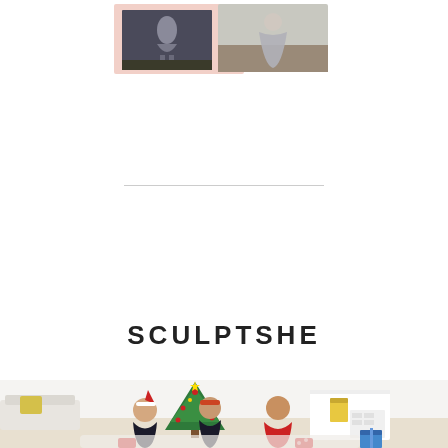[Figure (photo): Two fashion/dress product photos collaged together on a light pink background, showing women in gray flowing dresses outdoors]
SCULPTSHE
[Figure (photo): Three women sitting on a fur rug in front of a decorated Christmas tree in a bright white living room, wearing shapewear and holiday attire including Santa hats and red sweaters, with Christmas gifts around them]